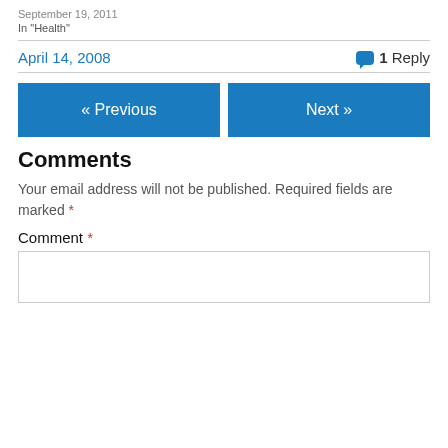September 19, 2011
In "Health"
April 14, 2008
1 Reply
« Previous
Next »
Comments
Your email address will not be published. Required fields are marked *
Comment *